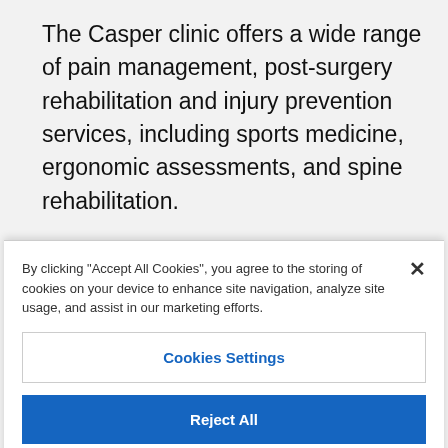The Casper clinic offers a wide range of pain management, post-surgery rehabilitation and injury prevention services, including sports medicine, ergonomic assessments, and spine rehabilitation.
Mohr, PT, will oversee the day-to-day clinic
By clicking "Accept All Cookies", you agree to the storing of cookies on your device to enhance site navigation, analyze site usage, and assist in our marketing efforts.
Cookies Settings
Reject All